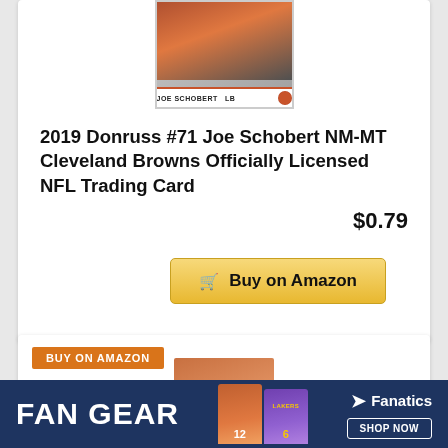[Figure (photo): Trading card image for Joe Schobert #71, Cleveland Browns, LB position, 2019 Donruss]
2019 Donruss #71 Joe Schobert NM-MT Cleveland Browns Officially Licensed NFL Trading Card
$0.79
Buy on Amazon
BUY ON AMAZON
[Figure (photo): NFL player trading card image at bottom of page]
FAN GEAR
[Figure (photo): Fanatics banner with athletes in sports jerseys including #12 in orange and #6 in Lakers jersey]
Fanatics SHOP NOW